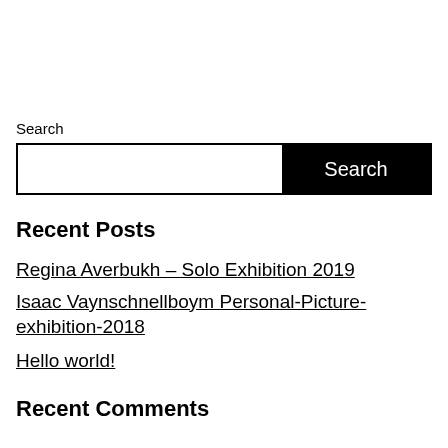Search
Search
Recent Posts
Regina Averbukh – Solo Exhibition 2019
Isaac Vaynschnellboym Personal-Picture-exhibition-2018
Hello world!
Recent Comments